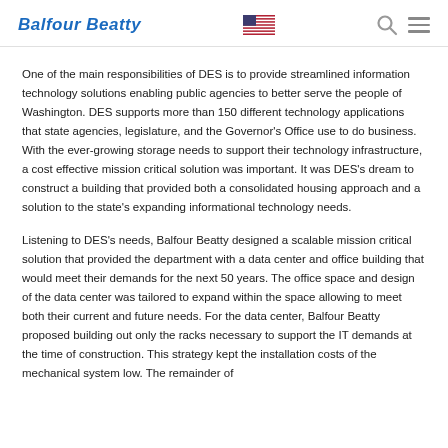Balfour Beatty [US flag icon] [search icon] [menu icon]
One of the main responsibilities of DES is to provide streamlined information technology solutions enabling public agencies to better serve the people of Washington. DES supports more than 150 different technology applications that state agencies, legislature, and the Governor's Office use to do business. With the ever-growing storage needs to support their technology infrastructure, a cost effective mission critical solution was important. It was DES's dream to construct a building that provided both a consolidated housing approach and a solution to the state's expanding informational technology needs.
Listening to DES's needs, Balfour Beatty designed a scalable mission critical solution that provided the department with a data center and office building that would meet their demands for the next 50 years. The office space and design of the data center was tailored to expand within the space allowing to meet both their current and future needs. For the data center, Balfour Beatty proposed building out only the racks necessary to support the IT demands at the time of construction. This strategy kept the installation costs of the mechanical system low. The remainder of